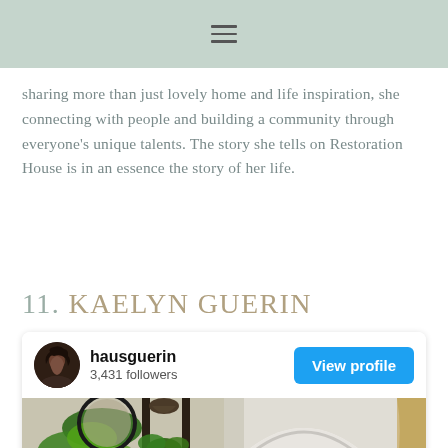≡
sharing more than just lovely home and life inspiration, she connecting with people and building a community through everyone's unique talents. The story she tells on Restoration House is in an essence the story of her life.
11. KAELYN GUERIN
[Figure (screenshot): Instagram profile card for hausguerin showing 3,431 followers with a View profile button and a photo of a home interior with plants and an arched doorway]